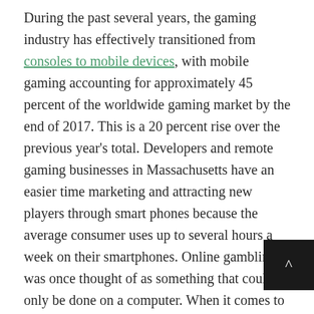During the past several years, the gaming industry has effectively transitioned from consoles to mobile devices, with mobile gaming accounting for approximately 45 percent of the worldwide gaming market by the end of 2017. This is a 20 percent rise over the previous year's total. Developers and remote gaming businesses in Massachusetts have an easier time marketing and attracting new players through smart phones because the average consumer uses up to several hours a week on their smartphones. Online gambling was once thought of as something that could only be done on a computer. When it comes to online gaming in Massachusetts, we're seeing more and more mobile-only apps being developed by developers. One of the reasons why sports betting has become so popular is that players may place bets wherever and anywhere they want; experts can even be offered new odds and wagers midway during a game.